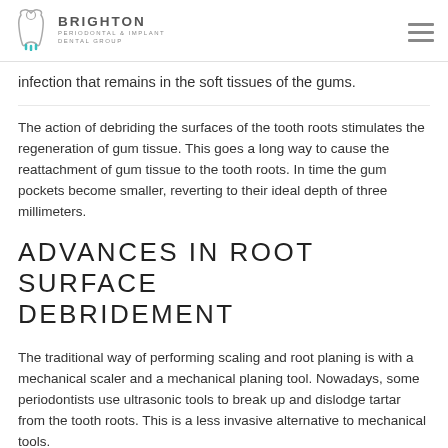Brighton Periodontal & Implant Dental Group
infection that remains in the soft tissues of the gums.
The action of debriding the surfaces of the tooth roots stimulates the regeneration of gum tissue. This goes a long way to cause the reattachment of gum tissue to the tooth roots. In time the gum pockets become smaller, reverting to their ideal depth of three millimeters.
ADVANCES IN ROOT SURFACE DEBRIDEMENT
The traditional way of performing scaling and root planing is with a mechanical scaler and a mechanical planing tool. Nowadays, some periodontists use ultrasonic tools to break up and dislodge tartar from the tooth roots. This is a less invasive alternative to mechanical tools.